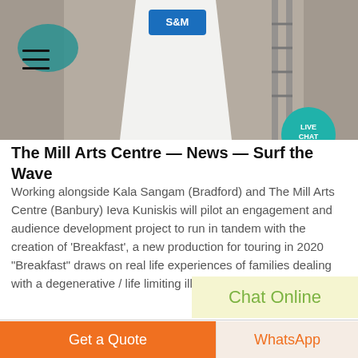[Figure (photo): Header photo showing a person in a white apron with SOM logo, industrial background, with hamburger menu icon top-left and Live Chat bubble bottom-right]
The Mill Arts Centre — News — Surf the Wave
Working alongside Kala Sangam (Bradford) and The Mill Arts Centre (Banbury) Ieva Kuniskis will pilot an engagement and audience development project to run in tandem with the creation of 'Breakfast', a new production for touring in 2020 "Breakfast" draws on real life experiences of families dealing with a degenerative / life limiting illness
Chat Online
Get a Quote
WhatsApp